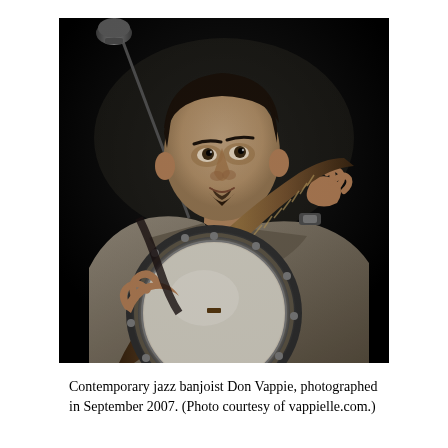[Figure (photo): Black and white photograph of jazz banjoist Don Vappie performing on stage. He is wearing a suit and holding a banjo, with a microphone stand visible to his left. He is looking slightly upward and to the right.]
Contemporary jazz banjoist Don Vappie, photographed in September 2007. (Photo courtesy of vappielle.com.)